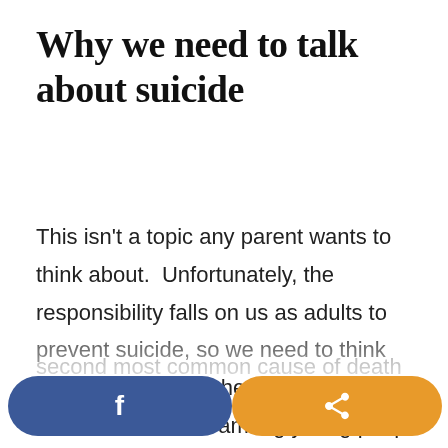Why we need to talk about suicide
This isn't a topic any parent wants to think about.  Unfortunately, the responsibility falls on us as adults to prevent suicide, so we need to think about what to do whether we like it or not.  Suicide rates among young people have been rapidly increasing over the past few years. In the US, suicide is the second most common cause of death
[Figure (other): Social sharing buttons: a blue Facebook button with 'f' icon on the left, and an orange share button with a share icon on the right]